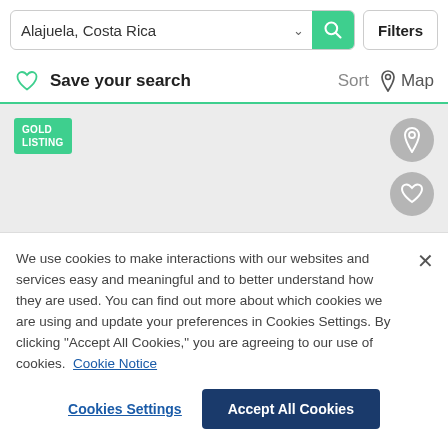Alajuela, Costa Rica
Filters
Save your search
Sort   Map
[Figure (screenshot): Gold listing badge and listing card area with map pin and heart favorite icons]
We use cookies to make interactions with our websites and services easy and meaningful and to better understand how they are used. You can find out more about which cookies we are using and update your preferences in Cookies Settings. By clicking "Accept All Cookies," you are agreeing to our use of cookies. Cookie Notice
Cookies Settings
Accept All Cookies